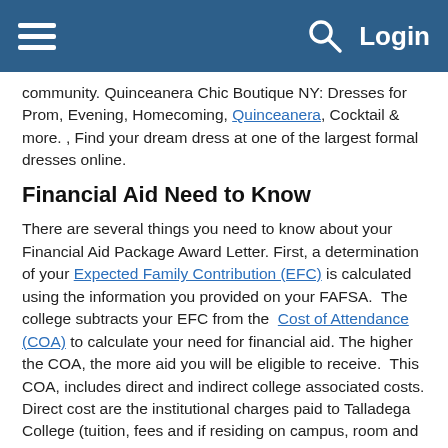≡   🔍  Login
community. Quinceanera Chic Boutique NY: Dresses for Prom, Evening, Homecoming, Quinceanera, Cocktail & more. , Find your dream dress at one of the largest formal dresses online.
Financial Aid Need to Know
There are several things you need to know about your Financial Aid Package Award Letter. First, a determination of your Expected Family Contribution (EFC) is calculated using the information you provided on your FAFSA.  The college subtracts your EFC from the  Cost of Attendance (COA) to calculate your need for financial aid. The higher the COA, the more aid you will be eligible to receive.  This COA, includes direct and indirect college associated costs. Direct cost are the institutional charges paid to Talladega College (tuition, fees and if residing on campus, room and board), and the indirect costs are the federally approved expenses associated with attending Talladega College (books, transportation, personal expenses, housing, and meals). Secondly, your Financial Aid Package is based on you attending college at a full-time status, which is 12 or more credit hours. This usually means you're enrolled and attending 12 or more credit